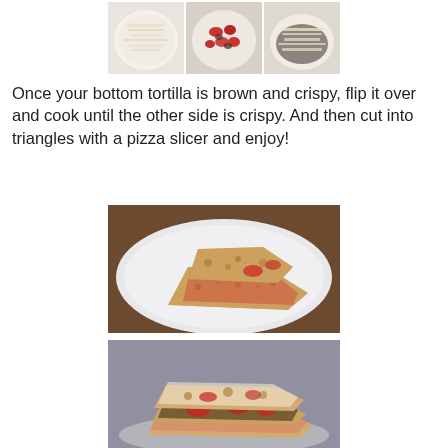[Figure (photo): Three step-by-step photos of quesadilla preparation: shredded cheese on tortilla, toppings with tomatoes and vegetables, and cheese-topped assembled quesadilla]
Once your bottom tortilla is brown and crispy, flip it over and cook until the other side is crispy. And then cut into triangles with a pizza slicer and enjoy!
[Figure (photo): Plated quesadilla triangles on a white plate showing crispy browned tortilla with red pepper and dark filling visible at edges]
[Figure (photo): Stack of quesadilla slices showing layers of tortilla, melted cheese, red peppers, and dark mushroom filling]